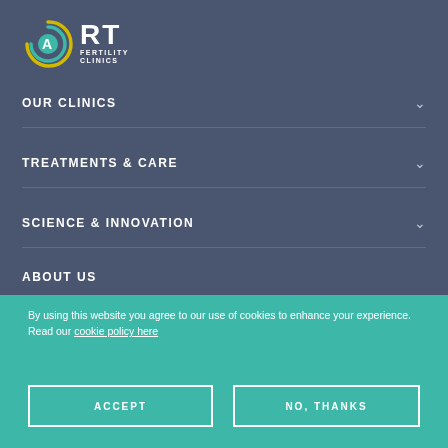[Figure (logo): ART Fertility Clinics logo with circular swoosh design in teal, yellow, and white]
OUR CLINICS
TREATMENTS & CARE
SCIENCE & INNOVATION
ABOUT US
By using this website you agree to our use of cookies to enhance your experience. Read our cookie policy here
ACCEPT
NO, THANKS